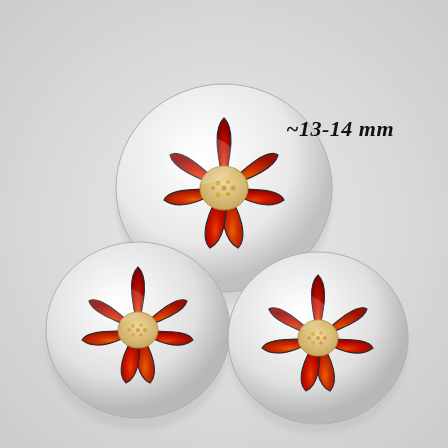[Figure (photo): Three round/oval cross-sections of a millefiori glass cane, each showing a red flower with 6 petals (orange-red gradient with dark veining lines) and a textured beige/cream center, set in a white glass base. The top piece is the largest and most central, with two smaller pieces below left and below right. Background is light gray/white.]
~13-14 mm